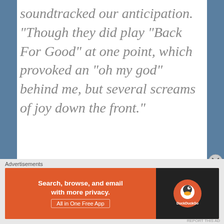soundtracked our anticipation. “Though they did play “Back For Good” at one point, which provoked an “oh my god” behind me, but several screams of joy down the front.”
There was also a screen behind the crowd playing Suede videos and footage from through the years, though without sound, but I watched eagerly, as much of these had not been available to view in Australia.
“Then, at a little past 6pm, Simon and Neil
[Figure (screenshot): DuckDuckGo advertisement banner with orange background on left reading 'Search, browse, and email with more privacy. All in One Free App' and dark background on right with DuckDuckGo logo.]